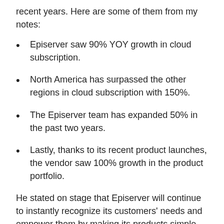recent years. Here are some of them from my notes:
Episerver saw 90% YOY growth in cloud subscription.
North America has surpassed the other regions in cloud subscription with 150%.
The Episerver team has expanded 50% in the past two years.
Lastly, thanks to its recent product launches, the vendor saw 100% growth in the product portfolio.
He stated on stage that Episerver will continue to instantly recognize its customers’ needs and empower them by making its products simple, dependable, and collaborative. He also briefly touched upon why the importance of security is growing and recognized Episerver’s most recent hire, Sue Bergamo, CIO and